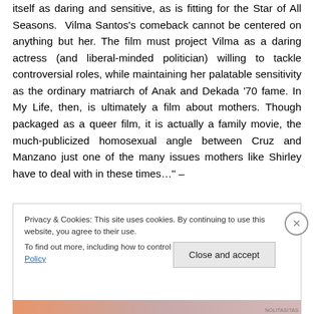itself as daring and sensitive, as is fitting for the Star of All Seasons. Vilma Santos's comeback cannot be centered on anything but her. The film must project Vilma as a daring actress (and liberal-minded politician) willing to tackle controversial roles, while maintaining her palatable sensitivity as the ordinary matriarch of Anak and Dekada '70 fame. In My Life, then, is ultimately a film about mothers. Though packaged as a queer film, it is actually a family movie, the much-publicized homosexual angle between Cruz and Manzano just one of the many issues mothers like Shirley have to deal with in these times…" –
Privacy & Cookies: This site uses cookies. By continuing to use this website, you agree to their use.
To find out more, including how to control cookies, see here: Cookie Policy